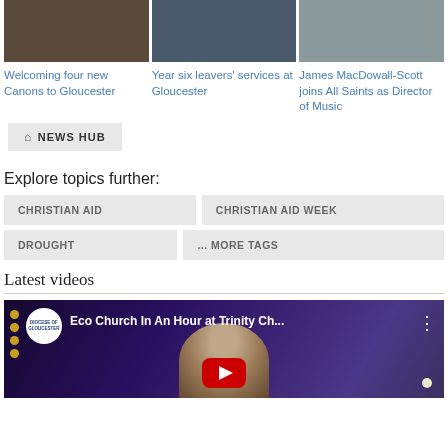[Figure (photo): Three news article thumbnail images in a row: church interior, congregation in church, man headshot]
Welcoming four new Canons to Gloucester
Year six leavers' services at Gloucester
James MacDowall-Scott joins All Saints as Director of Music
🏠 NEWS HUB
Explore topics further:
CHRISTIAN AID
CHRISTIAN AID WEEK
DROUGHT
... MORE TAGS
Latest videos
[Figure (screenshot): YouTube video thumbnail: Eco Church In An Hour at Trinity Ch... with channel logo and play button]